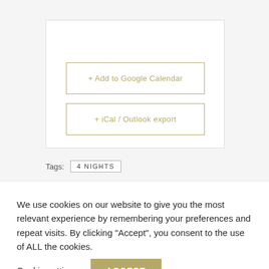[Figure (screenshot): White card container with two outlined buttons: '+ Add to Google Calendar' and '+ iCal / Outlook export', styled with gold/olive border color]
Tags:  4 NIGHTS
We use cookies on our website to give you the most relevant experience by remembering your preferences and repeat visits. By clicking “Accept”, you consent to the use of ALL the cookies.
Cookie settings   ACCEPT